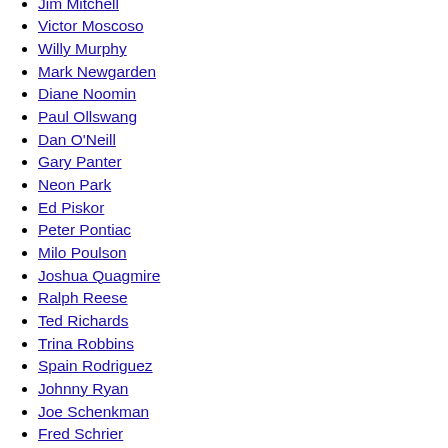Jim Mitchell
Victor Moscoso
Willy Murphy
Mark Newgarden
Diane Noomin
Paul Ollswang
Dan O'Neill
Gary Panter
Neon Park
Ed Piskor
Peter Pontiac
Milo Poulson
Joshua Quagmire
Ralph Reese
Ted Richards
Trina Robbins
Spain Rodriguez
Johnny Ryan
Joe Schenkman
Fred Schrier
Dori Seda
Herr Seele
Martin Sharp
Gilbert Shelton
Dave Sheridan
George Smits